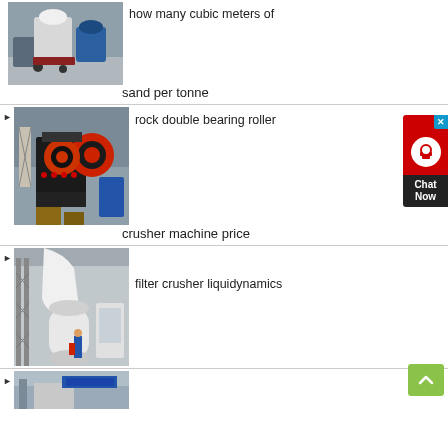[Figure (photo): Industrial milling machine equipment in a factory setting]
how many cubic meters of sand per tonne
[Figure (photo): Rock double bearing roller crusher machine in a factory]
rock double bearing roller crusher machine price
[Figure (photo): Industrial filter crusher liquidynamics equipment in factory]
filter crusher liquidynamics
[Figure (photo): Industrial machinery in factory, partial view]
[Figure (other): Chat Now customer service widget with close button]